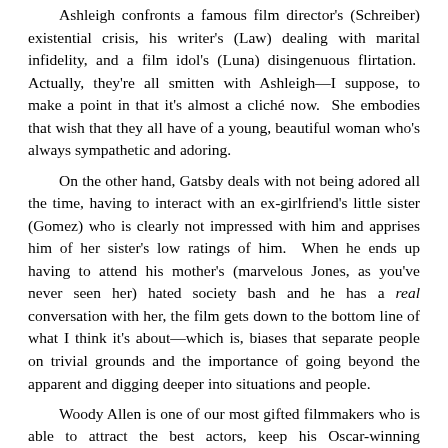Ashleigh confronts a famous film director's (Schreiber) existential crisis, his writer's (Law) dealing with marital infidelity, and a film idol's (Luna) disingenuous flirtation.  Actually, they're all smitten with Ashleigh—I suppose, to make a point in that it's almost a cliché now.  She embodies that wish that they all have of a young, beautiful woman who's always sympathetic and adoring.

On the other hand, Gatsby deals with not being adored all the time, having to interact with an ex-girlfriend's little sister (Gomez) who is clearly not impressed with him and apprises him of her sister's low ratings of him.  When he ends up having to attend his mother's (marvelous Jones, as you've never seen her) hated society bash and he has a real conversation with her, the film gets down to the bottom line of what I think it's about—which is, biases that separate people on trivial grounds and the importance of going beyond the apparent and digging deeper into situations and people.

Woody Allen is one of our most gifted filmmakers who is able to attract the best actors, keep his Oscar-winning cinematographer Vittorio Storaro (too many awards to name) on board, and provide music that captures every moment of